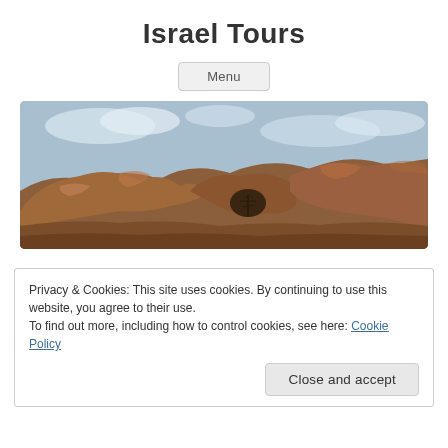Israel Tours
Menu
[Figure (photo): Landscape photo of rocky terrain with reddish-brown rocks forming a natural arch, with sparse vegetation visible through the arch and a blue sky in the background.]
Privacy & Cookies: This site uses cookies. By continuing to use this website, you agree to their use.
To find out more, including how to control cookies, see here: Cookie Policy
Close and accept